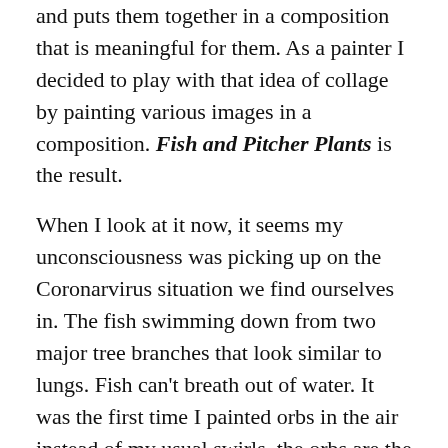and puts them together in a composition that is meaningful for them. As a painter I decided to play with that idea of collage by painting various images in a composition. Fish and Pitcher Plants is the result.
When I look at it now, it seems my unconsciousness was picking up on the Coronarvirus situation we find ourselves in. The fish swimming down from two major tree branches that look similar to lungs. Fish can't breath out of water. It was the first time I painted orbs in the air instead of my usual swirls, the orbs are the small air particles. The pitcher plant is a beautiful, unusual plant that kills it's insect prey by drowning them; that's somewhat creepy.
I looked up the meaning of dragonflies and read this from the website, WhatismySpiritAnimal.com which I quote, "Did life change in the blink of an eye? Is it